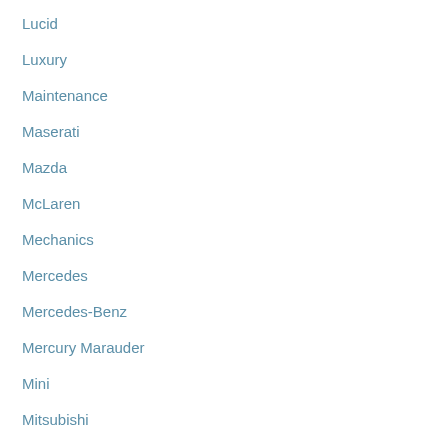Lucid
Luxury
Maintenance
Maserati
Mazda
McLaren
Mechanics
Mercedes
Mercedes-Benz
Mercury Marauder
Mini
Mitsubishi
News and Reviews
Nissan